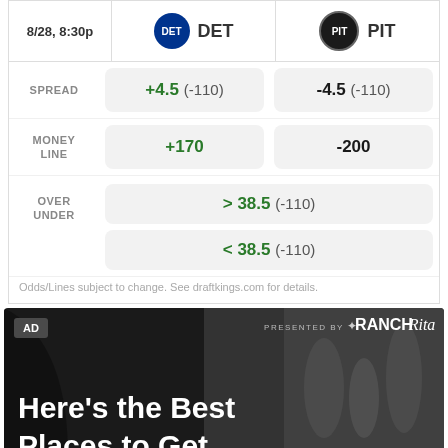| 8/28, 8:30p | DET | PIT |
| --- | --- | --- |
| SPREAD | +4.5 (-110) | -4.5 (-110) |
| MONEY LINE | +170 | -200 |
| OVER UNDER | > 38.5 (-110) | < 38.5 (-110) |
Odds/Lines subject to change. See draftkings.com for details.
[Figure (photo): Advertisement banner for Ranch Rita showing a dark background with people and text 'Here's the Best Places to Get Ready for the [Biggest NFL...]'. Labeled AD and Presented By Ranch Rita.]